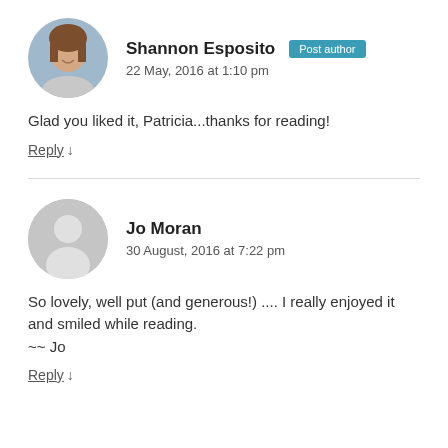[Figure (photo): Profile photo of Shannon Esposito, a woman smiling]
Shannon Esposito Post author
22 May, 2016 at 1:10 pm
Glad you liked it, Patricia...thanks for reading!
Reply ↓
[Figure (illustration): Generic grey silhouette avatar for Jo Moran]
Jo Moran
30 August, 2016 at 7:22 pm
So lovely, well put (and generous!) .... I really enjoyed it and smiled while reading.
~~ Jo
Reply ↓